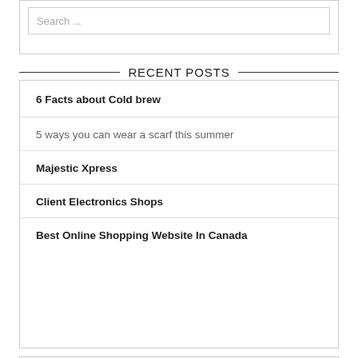[Figure (other): Search input box with placeholder text 'Search ...']
RECENT POSTS
6 Facts about Cold brew
5 ways you can wear a scarf this summer
Majestic Xpress
Client Electronics Shops
Best Online Shopping Website In Canada
CATEGORIES
Apparel